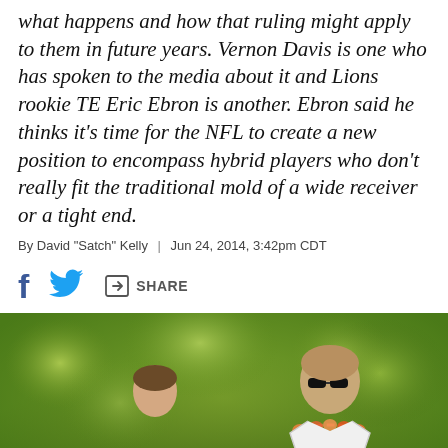what happens and how that ruling might apply to them in future years. Vernon Davis is one who has spoken to the media about it and Lions rookie TE Eric Ebron is another. Ebron said he thinks it's time for the NFL to create a new position to encompass hybrid players who don't really fit the traditional mold of a wide receiver or a tight end.
By David "Satch" Kelly | Jun 24, 2014, 3:42pm CDT
[Figure (other): Social share bar with Facebook, Twitter, and Share icons]
[Figure (photo): An NFL player wearing jersey number 80 with sunglasses and a flower lei being interviewed by a reporter holding an NFL microphone, outdoors with trees in background]